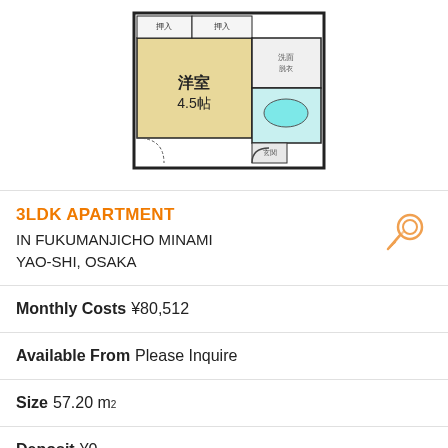[Figure (engineering-diagram): Japanese apartment floor plan showing a 4.5-tatami Western-style room (洋室 4.5帖) with Japanese room layout including entrance, bathroom, kitchen area]
3LDK APARTMENT IN FUKUMANJICHO MINAMI YAO-SHI, OSAKA
Monthly Costs ¥80,512
Available From Please Inquire
Size 57.20 m²
Deposit ¥0
Key Money ¥62,000
Floor 4 / 5F